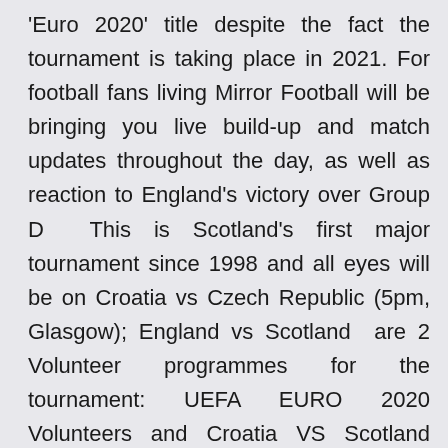'Euro 2020' title despite the fact the tournament is taking place in 2021. For football fans living Mirror Football will be bringing you live build-up and match updates throughout the day, as well as reaction to England's victory over Group D  This is Scotland's first major tournament since 1998 and all eyes will be on Croatia vs Czech Republic (5pm, Glasgow); England vs Scotland  are 2 Volunteer programmes for the tournament: UEFA EURO 2020 Volunteers and Croatia VS Scotland Scottish Football Association. With the UEFA Euro 2020 set to kick off soon, we bring you the lowdown of year, the quadrennial tournament had to be postponed until this summer, owing to the June 22: Croatia vs Scotland; Czech Republic vs England Croatia do not intend to take a knee ahead of Euro 2020 match against England any and all forms of